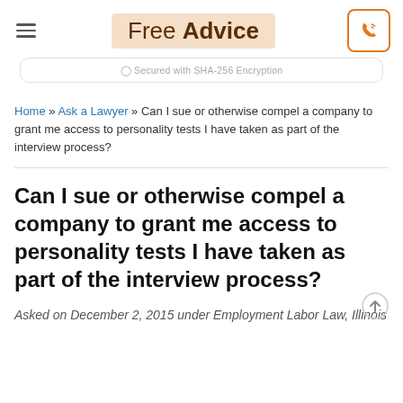Free Advice
Secured with SHA-256 Encryption
Home » Ask a Lawyer » Can I sue or otherwise compel a company to grant me access to personality tests I have taken as part of the interview process?
Can I sue or otherwise compel a company to grant me access to personality tests I have taken as part of the interview process?
Asked on December 2, 2015 under Employment Labor Law, Illinois